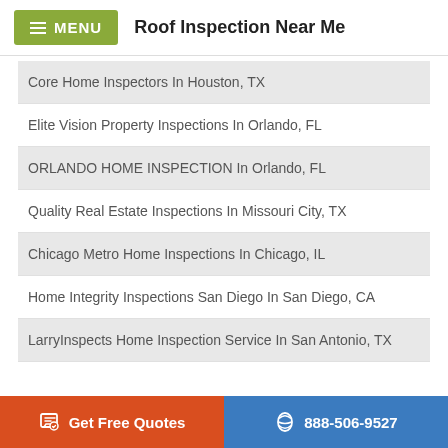MENU  Roof Inspection Near Me
Core Home Inspectors In Houston, TX
Elite Vision Property Inspections In Orlando, FL
ORLANDO HOME INSPECTION In Orlando, FL
Quality Real Estate Inspections In Missouri City, TX
Chicago Metro Home Inspections In Chicago, IL
Home Integrity Inspections San Diego In San Diego, CA
LarryInspects Home Inspection Service In San Antonio, TX
Get Free Quotes  888-506-9527